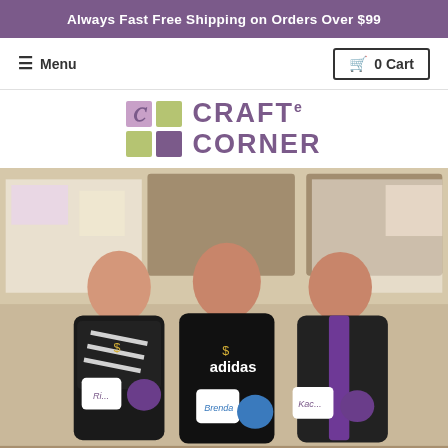Always Fast Free Shipping on Orders Over $99
≡ Menu   🛒 0 Cart
[Figure (logo): CraftE Corner logo with a 2x2 grid of colored squares (mauve, olive, olive, purple) next to the stylized text CRAFT-e CORNER in purple]
[Figure (photo): Three women standing together in an office/classroom setting, all wearing black Adidas shirts. They are holding personalized mugs and purple heart-shaped objects. The woman on the right is wearing a purple birthday sash. Various papers and photos are pinned to bulletin boards behind them.]